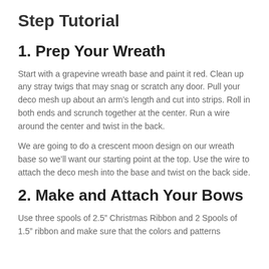Step Tutorial
1. Prep Your Wreath
Start with a grapevine wreath base and paint it red. Clean up any stray twigs that may snag or scratch any door. Pull your deco mesh up about an arm’s length and cut into strips. Roll in both ends and scrunch together at the center. Run a wire around the center and twist in the back.
We are going to do a crescent moon design on our wreath base so we’ll want our starting point at the top. Use the wire to attach the deco mesh into the base and twist on the back side.
2. Make and Attach Your Bows
Use three spools of 2.5” Christmas Ribbon and 2 Spools of 1.5” ribbon and make sure that the colors and patterns